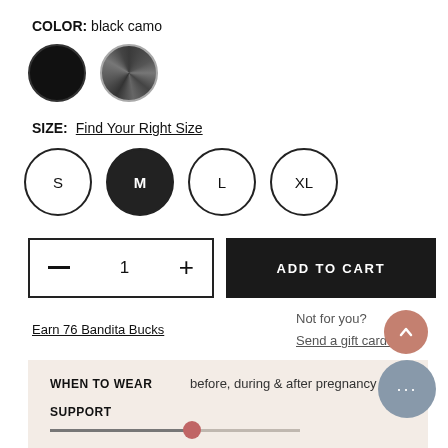COLOR: black camo
[Figure (other): Two color swatches: solid black circle and dark camo pattern circle]
SIZE: Find Your Right Size
[Figure (other): Four size buttons: S, M (selected/filled), L, XL]
[Figure (other): Quantity selector showing minus, 1, plus in bordered box, and ADD TO CART black button]
Earn 76 Bandita Bucks
Not for you? Send a gift card!
WHEN TO WEAR  before, during & after pregnancy
SUPPORT